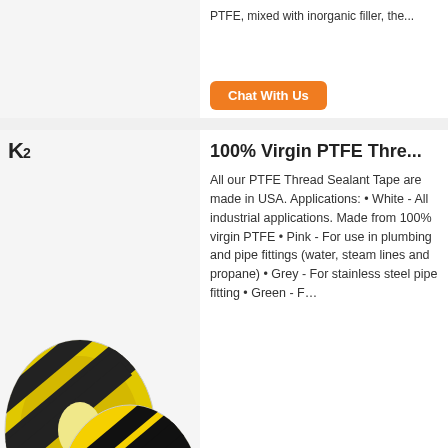PTFE, mixed with inorganic filler, the...
[Figure (other): Chat With Us orange button (top card)]
[Figure (photo): Yellow and black striped tape rolls with K2 logo]
100% Virgin PTFE Thre...
All our PTFE Thread Sealant Tape are made in USA. Applications: • White - All industrial applications. Made from 100% virgin PTFE • Pink - For use in plumbing and pipe fittings (water, steam lines and propane) • Grey - For stainless steel pipe fitting • Green - F…
[Figure (other): Chat With Us orange button (middle card)]
[Figure (photo): Blue plastic shell PTFE tape roll with K2 logo]
Hangzhou Forever Plas...
Click on Buy Up. PTFE White Color Thread Sealing Adhesive Tape Used For All Kind Of Thread Sealing. $0.06 - $0.08 / Piece. High Quality 12mm 1/2" Blue Plastic Shell PTFE Gas Sealing Ptfe Pipe Thread Seal Tape. $0.06 - $0.08 / Piece. Ptfe Thread Seal